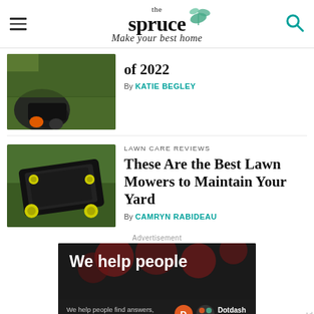the spruce — Make your best home
[Figure (photo): Close-up of a robotic lawn mower on grass near a garden edge]
of 2022
By KATIE BEGLEY
[Figure (photo): Top-down view of a black and yellow push lawn mower on green grass]
LAWN CARE REVIEWS
These Are the Best Lawn Mowers to Maintain Your Yard
By CAMRYN RABIDEAU
Advertisement
[Figure (screenshot): Dotdash Meredith advertisement: 'We help people find answers, solve problems and get inspired.']